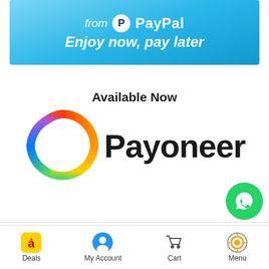[Figure (logo): PayPal 'from PayPal – Enjoy now, pay later' promotional banner with light blue gradient background]
Available Now
[Figure (logo): Payoneer logo: colorful circular ring icon (red, orange, yellow, green, blue, purple gradient) followed by 'Payoneer' in large bold black text]
[Figure (logo): WhatsApp floating action button (green circle with white phone/chat icon)]
Payment System:
Shipping System:
Deals  My Account  Cart  Menu